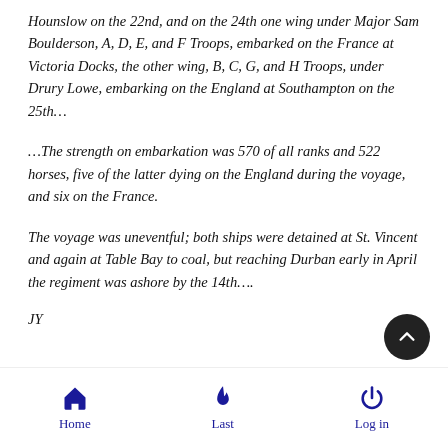Hounslow on the 22nd, and on the 24th one wing under Major Sam Boulderson, A, D, E, and F Troops, embarked on the France at Victoria Docks, the other wing, B, C, G, and H Troops, under Drury Lowe, embarking on the England at Southampton on the 25th…
…The strength on embarkation was 570 of all ranks and 522 horses, five of the latter dying on the England during the voyage, and six on the France.
The voyage was uneventful; both ships were detained at St. Vincent and again at Table Bay to coal, but reaching Durban early in April the regiment was ashore by the 14th….
JY
Home  Last  Log in